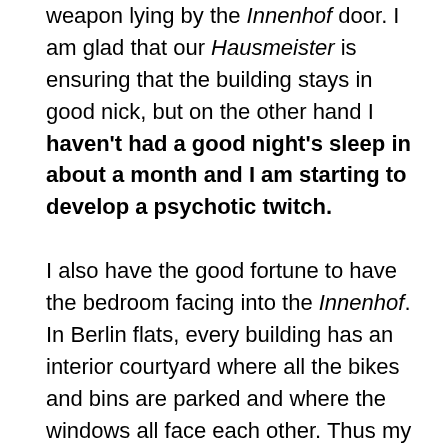weapon lying by the Innenhof door. I am glad that our Hausmeister is ensuring that the building stays in good nick, but on the other hand I haven't had a good night's sleep in about a month and I am starting to develop a psychotic twitch.

I also have the good fortune to have the bedroom facing into the Innenhof. In Berlin flats, every building has an interior courtyard where all the bikes and bins are parked and where the windows all face each other. Thus my bedroom window looks out into everyone else's flat and vice versa, and now that it's summer and everyone's windows are casually left open the entire Innenhof has